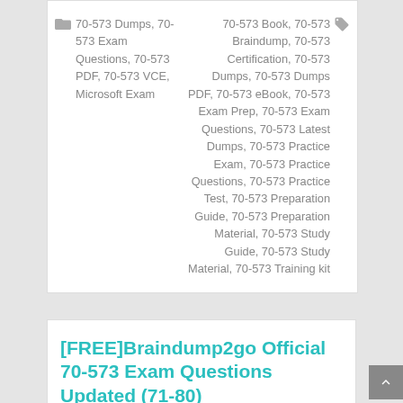70-573 Dumps, 70-573 Exam Questions, 70-573 PDF, 70-573 VCE, Microsoft Exam
70-573 Book, 70-573 Braindump, 70-573 Certification, 70-573 Dumps, 70-573 Dumps PDF, 70-573 eBook, 70-573 Exam Prep, 70-573 Exam Questions, 70-573 Latest Dumps, 70-573 Practice Exam, 70-573 Practice Questions, 70-573 Practice Test, 70-573 Preparation Guide, 70-573 Preparation Material, 70-573 Study Guide, 70-573 Study Material, 70-573 Training kit
[FREE]Braindump2go Official 70-573 Exam Questions Updated (71-80)
Author: admin | December 4, 2015
MICROSOFT NEWS: 70-573 Exam Questions has been